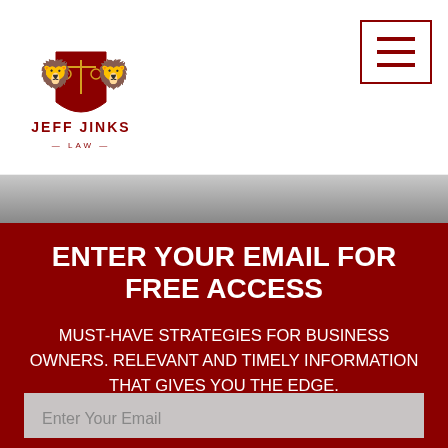[Figure (logo): Jeff Jinks Law logo with two lions flanking a shield with scales of justice, dark red color, text JEFF JINKS LAW below]
[Figure (other): Hamburger menu icon with three horizontal lines inside a dark red bordered square]
[Figure (photo): Grayscale photo strip background]
ENTER YOUR EMAIL FOR FREE ACCESS
MUST-HAVE STRATEGIES FOR BUSINESS OWNERS. RELEVANT AND TIMELY INFORMATION THAT GIVES YOU THE EDGE.
Enter Your Email